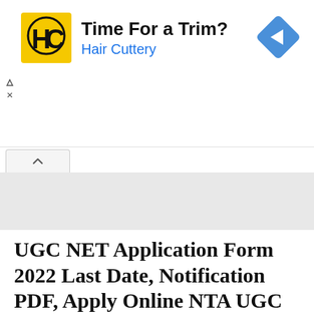[Figure (screenshot): Hair Cuttery advertisement banner with yellow HC logo, 'Time For a Trim?' headline, 'Hair Cuttery' subtext in blue, and a blue navigation diamond icon on the right]
UGC NET Application Form 2022 Last Date, Notification PDF, Apply Online NTA UGC NET
August 20, 2022 by punjal